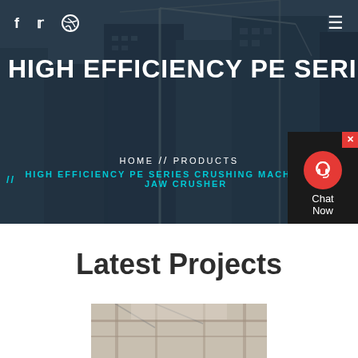[Figure (photo): Hero background: construction site with cranes and city buildings, dark blue overlay. Social media icons (Facebook, Twitter, Dribbble) in top left, hamburger menu top right.]
HIGH EFFICIENCY PE SERIES CR
HOME // PRODUCTS // HIGH EFFICIENCY PE SERIES CRUSHING MACHINE ROCK JAW CRUSHER
[Figure (infographic): Chat widget with red circle icon, close X button, dark background, Chat Now text]
Latest Projects
[Figure (photo): Construction site interior photo showing structure and scaffolding]